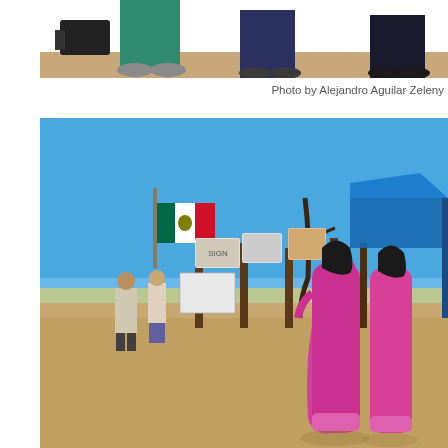[Figure (photo): Partial photo showing lower legs and feet of people standing on sandy/dirt ground, one person in teal/green pants and gray shoes, another in dark pants and dark shoes. Photo is cropped at top.]
Photo by Alejandro Aguilar Zeleny
[Figure (photo): Outdoor scene in a desert/arid environment under a bright blue sky. Several flags are hanging including a Mexican flag on the left. Banners and signs are strung between wooden posts. On the right side, two women wearing bright pink traditional dresses/clothing stand near a blue tent canopy. In the background, a few people are walking on sandy ground.]